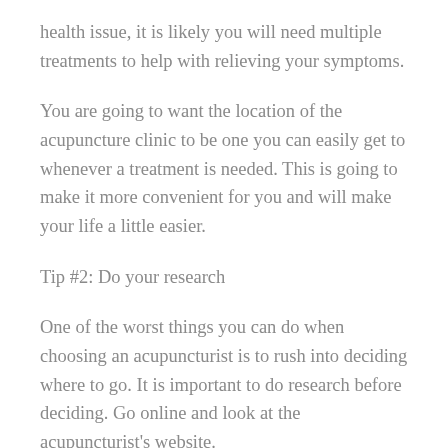health issue, it is likely you will need multiple treatments to help with relieving your symptoms.
You are going to want the location of the acupuncture clinic to be one you can easily get to whenever a treatment is needed. This is going to make it more convenient for you and will make your life a little easier.
Tip #2: Do your research
One of the worst things you can do when choosing an acupuncturist is to rush into deciding where to go. It is important to do research before deciding. Go online and look at the acupuncturist's website.